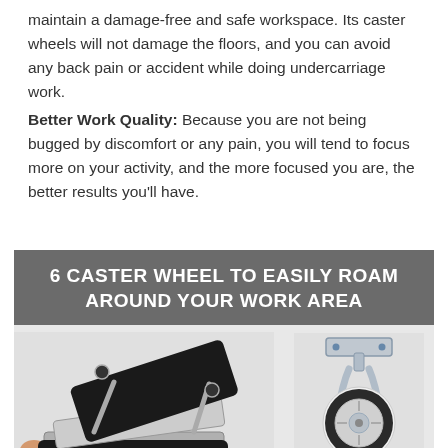maintain a damage-free and safe workspace. Its caster wheels will not damage the floors, and you can avoid any back pain or accident while doing undercarriage work.
Better Work Quality: Because you are not being bugged by discomfort or any pain, you will tend to focus more on your activity, and the more focused you are, the better results you'll have.
[Figure (infographic): Infographic banner reading '6 CASTER WHEEL TO EASILY ROAM AROUND YOUR WORK AREA' on a dark grey background, with a photo of a mechanic's creeper/chair on the left and a close-up photo of a caster wheel on the right, with caption 'ideal for hard and smooth floors without causing' at bottom right.]